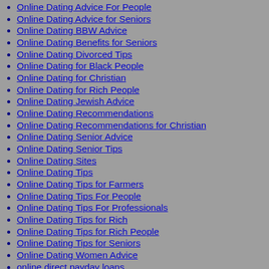Online Dating Advice For People
Online Dating Advice for Seniors
Online Dating BBW Advice
Online Dating Benefits for Seniors
Online Dating Divorced Tips
Online Dating for Black People
Online Dating for Christian
Online Dating for Rich People
Online Dating Jewish Advice
Online Dating Recommendations
Online Dating Recommendations for Christian
Online Dating Senior Advice
Online Dating Senior Tips
Online Dating Sites
Online Dating Tips
Online Dating Tips for Farmers
Online Dating Tips For People
Online Dating Tips For Professionals
Online Dating Tips for Rich
Online Dating Tips for Rich People
Online Dating Tips for Seniors
Online Dating Women Advice
online direct payday loans
online essay
online installment loans direct lender